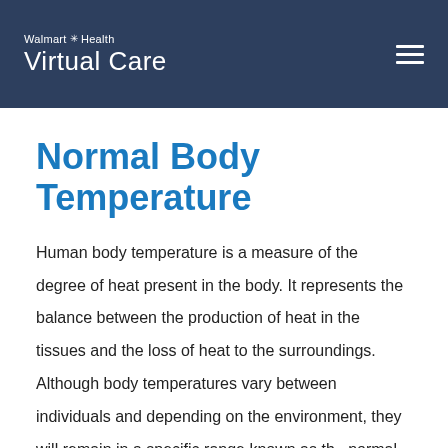Walmart Health Virtual Care
Normal Body Temperature
Human body temperature is a measure of the degree of heat present in the body. It represents the balance between the production of heat in the tissues and the loss of heat to the surroundings. Although body temperatures vary between individuals and depending on the environment, they will remain in a specific range known as the normal body temperature. This range is